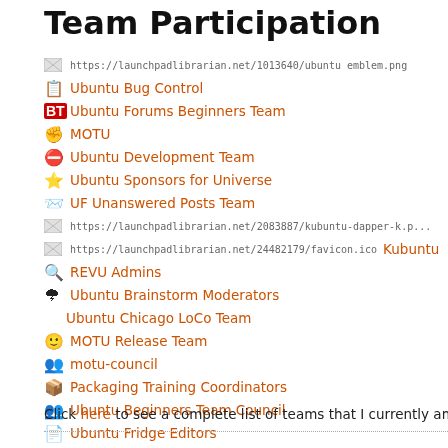Team Participation
https://launchpadlibrarian.net/1013640/ubuntu_emblem.png [image]
Ubuntu Bug Control
Ubuntu Forums Beginners Team
MOTU
Ubuntu Development Team
Ubuntu Sponsors for Universe
UF Unanswered Posts Team
https://launchpadlibrarian.net/2083887/kubuntu-dapper-k.p... [image]
https://launchpadlibrarian.net/24482179/favicon.ico Kubuntu...
REVU Admins
Ubuntu Brainstorm Moderators
Ubuntu Chicago LoCo Team
MOTU Release Team
motu-council
Packaging Training Coordinators
Ubuntu Beginners Team Council
Ubuntu Fridge Editors
Ubuntu Weekly Newsletter
Click here to see a complete list of teams that I currently am a